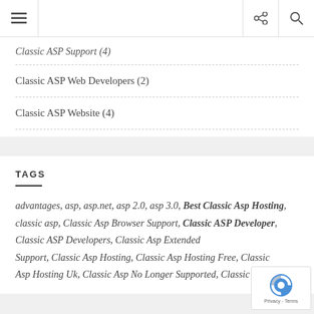≡ [share] [search]
Classic ASP Support (4)
Classic ASP Web Developers (2)
Classic ASP Website (4)
TAGS
advantages, asp, asp.net, asp 2.0, asp 3.0, Best Classic Asp Hosting, classic asp, Classic Asp Browser Support, Classic ASP Developer, Classic ASP Developers, Classic Asp Extended Support, Classic Asp Hosting, Classic Asp Hosting Free, Classic Asp Hosting Uk, Classic Asp No Longer Supported, Classic...